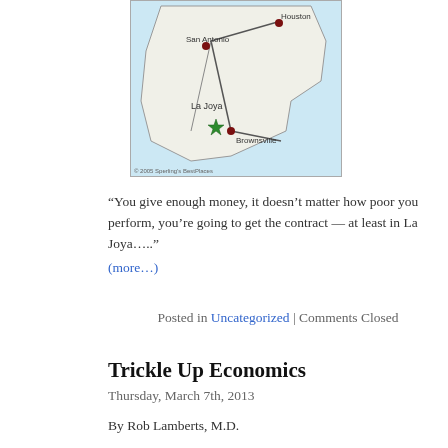[Figure (map): Map of Texas region showing La Joya, San Antonio, Houston, Brownsville, with a green star marker at La Joya. Copyright 2005 Sperling's BestPlaces.]
“You give enough money, it doesn’t matter how poor you perform, you’re going to get the contract — at least in La Joya…..”
(more…)
Posted in Uncategorized | Comments Closed
Trickle Up Economics
Thursday, March 7th, 2013
By Rob Lamberts, M.D.
It’s been a month since I started my new practice.  We are up to nearly 150 now, and aside from the cost to renovate my building, our revenue has surpassed our spending.  The reason this is possible is that a cash-pay practice which 100% of income is paid up front has an incredibly low overhead.  My ineptitude at financial complexity has forced me to simplify our finances as much as possible.  This means that the accounting is “so simple even a doctor can do it,” which means I don’t need any front-office support staff.  I don’t send bills because nobody owes me anything.  It’s just me and my nurse, focusing our time on jury-rigging a computerized record so we can give good care.